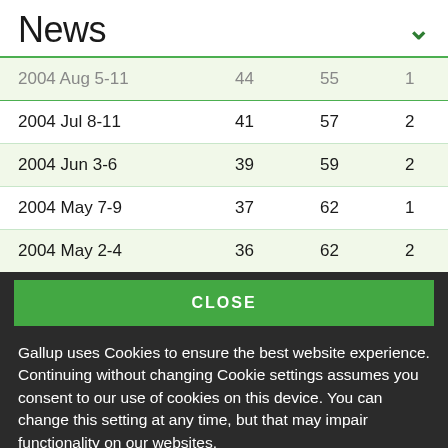News
| 2004 Aug 5-11 | 44 | 55 | 1 |
| 2004 Jul 8-11 | 41 | 57 | 2 |
| 2004 Jun 3-6 | 39 | 59 | 2 |
| 2004 May 7-9 | 37 | 62 | 1 |
| 2004 May 2-4 | 36 | 62 | 2 |
CLOSE
Gallup uses Cookies to ensure the best website experience. Continuing without changing Cookie settings assumes you consent to our use of cookies on this device. You can change this setting at any time, but that may impair functionality on our websites.
Privacy Statement   Site Terms of Use and Sale
Product Terms of Use   Adjust your cookie settings.